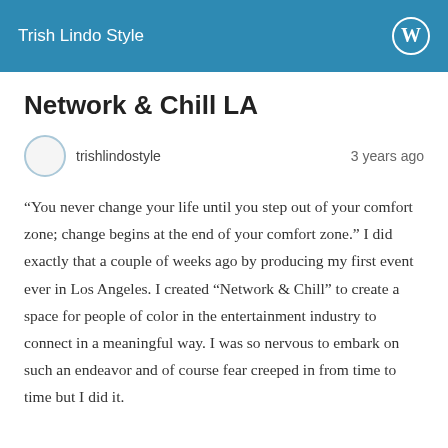Trish Lindo Style
Network & Chill LA
trishlindostyle   3 years ago
“You never change your life until you step out of your comfort zone; change begins at the end of your comfort zone.” I did exactly that a couple of weeks ago by producing my first event ever in Los Angeles. I created “Network & Chill” to create a space for people of color in the entertainment industry to connect in a meaningful way. I was so nervous to embark on such an endeavor and of course fear creeped in from time to time but I did it.